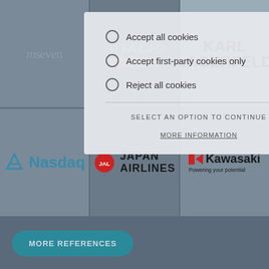[Figure (screenshot): Website screenshot showing a cookie consent overlay on top of a page with company logos (mseven, Hitachi, Karl Lagerfeld, Nasdaq, Japan Airlines, Kawasaki) and a 'MORE REFERENCES' button. The cookie overlay has options: Accept all cookies, Accept first-party cookies only, Reject all cookies, with SELECT AN OPTION TO CONTINUE and MORE INFORMATION text.]